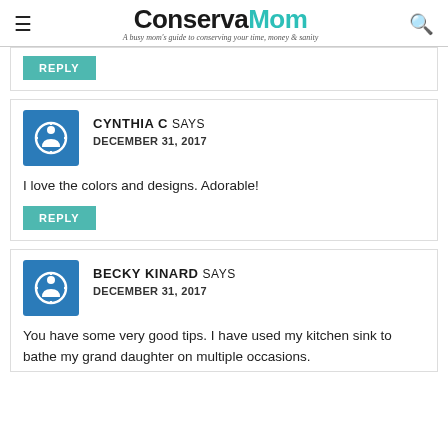ConservaMom – A busy mom's guide to conserving your time, money & sanity
REPLY
CYNTHIA C SAYS
DECEMBER 31, 2017
I love the colors and designs. Adorable!
REPLY
BECKY KINARD SAYS
DECEMBER 31, 2017
You have some very good tips. I have used my kitchen sink to bathe my grand daughter on multiple occasions.